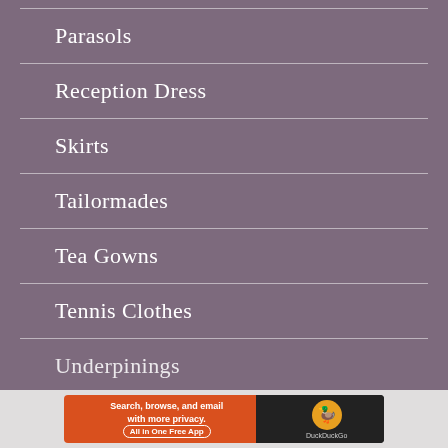Parasols
Reception Dress
Skirts
Tailormades
Tea Gowns
Tennis Clothes
Underpinings
[Figure (other): DuckDuckGo advertisement banner with text 'Search, browse, and email with more privacy. All in One Free App' and DuckDuckGo logo]